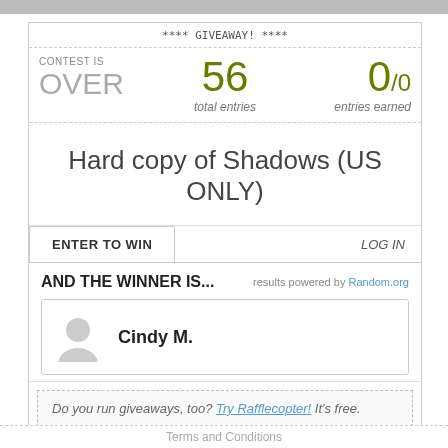[Figure (photo): Top image bar, partially visible photo]
**** GIVEAWAY! ****
CONTEST IS OVER | 56 total entries | 0/0 entries earned
Hard copy of Shadows (US ONLY)
ENTER TO WIN    LOG IN
AND THE WINNER IS...
results powered by Random.org
Cindy M.
Do you run giveaways, too? Try Rafflecopter! It's free.
Terms and Conditions